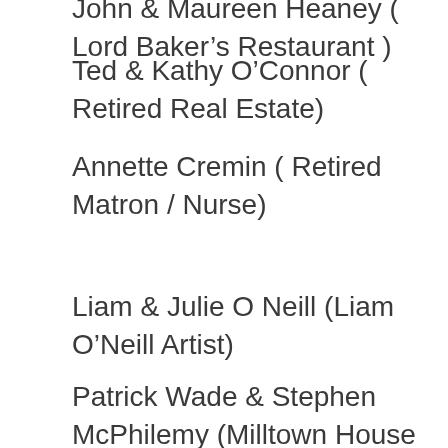John & Maureen Heaney ( Lord Baker’s Restaurant )
Ted & Kathy O’Connor ( Retired Real Estate)
Annette Cremin ( Retired Matron / Nurse)
Liam & Julie O Neill (Liam O’Neill Artist)
Patrick Wade & Stephen McPhilemy (Milltown House – Guest House)